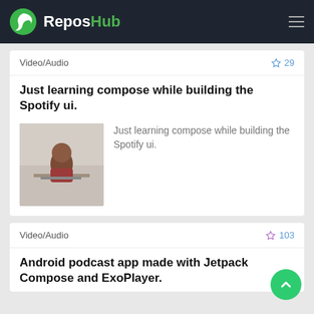ReposHub
Video/Audio
☆ 29
Just learning compose while building the Spotify ui.
[Figure (photo): Thumbnail image of a person sitting at a desk with a laptop]
Just learning compose while building the Spotify ui.
Video/Audio
☆ 103
Android podcast app made with Jetpack Compose and ExoPlayer.